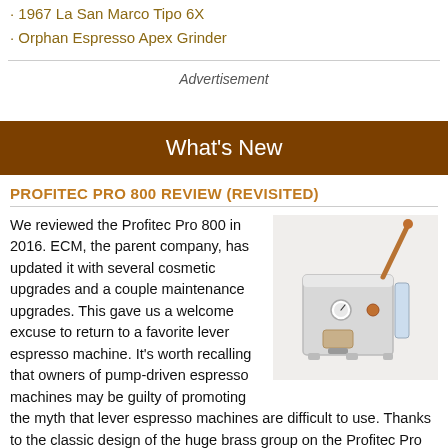· 1967 La San Marco Tipo 6X
· Orphan Espresso Apex Grinder
Advertisement
What's New
PROFITEC PRO 800 REVIEW (REVISITED)
We reviewed the Profitec Pro 800 in 2016. ECM, the parent company, has updated it with several cosmetic upgrades and a couple maintenance upgrades. This gave us a welcome excuse to return to a favorite lever espresso machine. It's worth recalling that owners of pump-driven espresso machines may be guilty of promoting the myth that lever espresso machines are difficult to use. Thanks to the classic design of the huge brass group on the Profitec Pro 800, it's the epitome of no-fuss operation.
[Figure (photo): Photo of the Profitec Pro 800 lever espresso machine, silver/chrome with copper/rose gold accents and a large lever arm on top.]